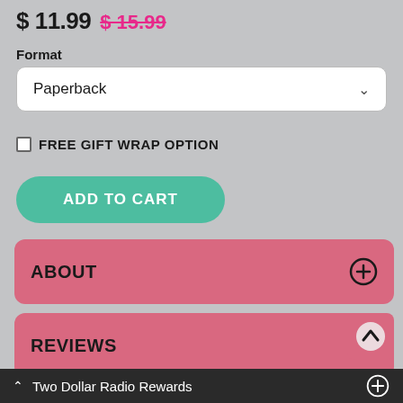$ 11.99  $ 15.99
Format
Paperback
FREE GIFT WRAP OPTION
ADD TO CART
ABOUT
REVIEWS
AUTHOR
Two Dollar Radio Rewards